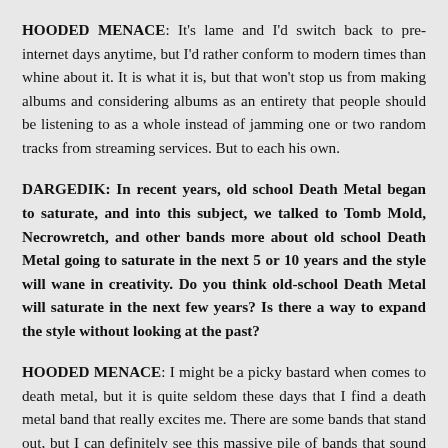HOODED MENACE: It's lame and I'd switch back to pre-internet days anytime, but I'd rather conform to modern times than whine about it. It is what it is, but that won't stop us from making albums and considering albums as an entirety that people should be listening to as a whole instead of jamming one or two random tracks from streaming services. But to each his own.
DARGEDIK: In recent years, old school Death Metal began to saturate, and into this subject, we talked to Tomb Mold, Necrowretch, and other bands more about old school Death Metal going to saturate in the next 5 or 10 years and the style will wane in creativity. Do you think old-school Death Metal will saturate in the next few years? Is there a way to expand the style without looking at the past?
HOODED MENACE: I might be a picky bastard when comes to death metal, but it is quite seldom these days that I find a death metal band that really excites me. There are some bands that stand out, but I can definitely see this massive pile of bands that sound like everyone else and it bores the hell out of me. But this was my feeling also in the